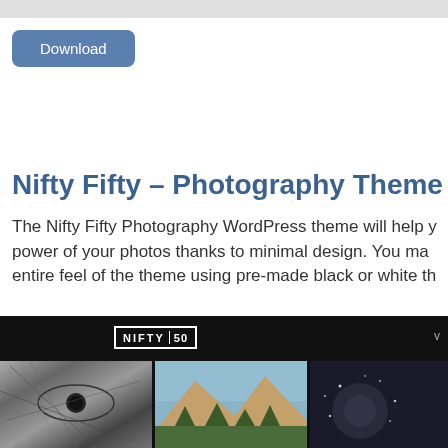[Figure (screenshot): Top grey bar/header area of a webpage]
Download
Nifty Fifty – Photography Theme
The Nifty Fifty Photography WordPress theme will help y power of your photos thanks to minimal design. You ma entire feel of the theme using pre-made black or white th
[Figure (screenshot): Screenshot of the Nifty Fifty photography WordPress theme showing a dark header with NIFTY 50 logo and three photos: a black and white close-up of an eye with hair, a mountain landscape with forest, and a dark sparkle/galaxy image]